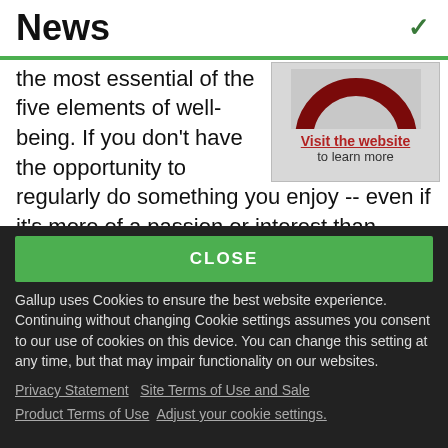News
the most essential of the five elements of well-being. If you don't have the opportunity to regularly do something you enjoy -- even if it's more of a passion or interest than something you
[Figure (screenshot): Red circular logo partially visible, with 'Visit the website to learn more' link below on grey background]
CLOSE
Gallup uses Cookies to ensure the best website experience. Continuing without changing Cookie settings assumes you consent to our use of cookies on this device. You can change this setting at any time, but that may impair functionality on our websites.
Privacy Statement   Site Terms of Use and Sale
Product Terms of Use   Adjust your cookie settings.